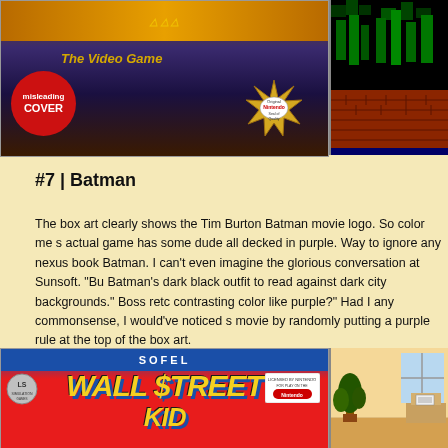[Figure (photo): Batman NES game box art showing the Tim Burton Batman movie logo, 'The Video Game' text in gold italic, a red circular 'misleading COVER' badge overlay, and an Original Nintendo Seal of Quality starburst badge]
[Figure (screenshot): NES game screenshot showing green and orange/red pixelated platform level blocks on a dark background]
#7 | Batman
The box art clearly shows the Tim Burton Batman movie logo. So color me s... actual game has some dude all decked in purple. Way to ignore any nexus... book Batman. I can't even imagine the glorious conversation at Sunsoft. "Bu Batman's dark black outfit to read against dark city backgrounds." Boss retc contrasting color like purple?" Had I any commonsense, I would've noticed s movie by randomly putting a purple rule at the top of the box art.
[Figure (photo): Wall Street Kid NES game box art by Sofel, showing blue header with SOFEL logo and large yellow comic-book style 'WALL STREET KID' title text on red background]
[Figure (screenshot): NES game screenshot showing a cartoon indoor scene with a plant and what appears to be furniture on a light tan/yellow background]